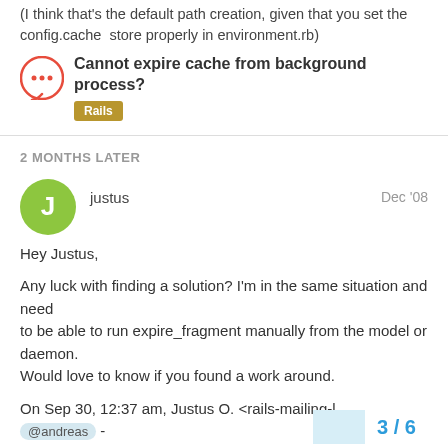(I think that's the default path creation, given that you set the config.cache  store properly in environment.rb)
Cannot expire cache from background process?
Rails
2 MONTHS LATER
justus
Dec '08
Hey Justus,

Any luck with finding a solution? I'm in the same situation and need
to be able to run expire_fragment manually from the model or daemon.
Would love to know if you found a work around.

On Sep 30, 12:37 am, Justus O. <rails-mailing-l... @andreas -
3 / 6